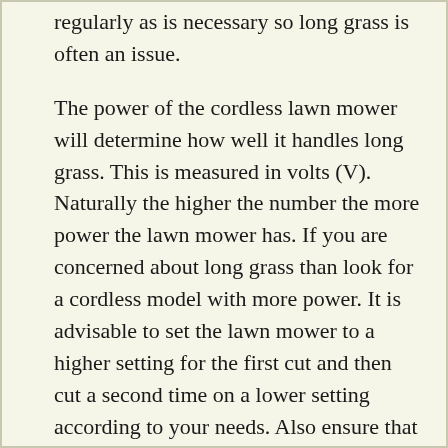regularly as is necessary so long grass is often an issue.
The power of the cordless lawn mower will determine how well it handles long grass. This is measured in volts (V). Naturally the higher the number the more power the lawn mower has. If you are concerned about long grass than look for a cordless model with more power. It is advisable to set the lawn mower to a higher setting for the first cut and then cut a second time on a lower setting according to your needs. Also ensure that the blades are sharp.